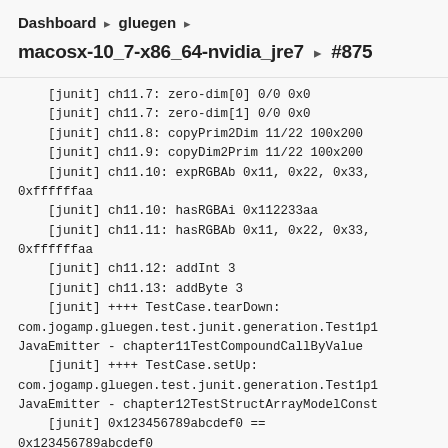Dashboard ▸ gluegen ▸
macosx-10_7-x86_64-nvidia_jre7 ▸ #875
[junit] ch11.7: zero-dim[0] 0/0 0x0
    [junit] ch11.7: zero-dim[1] 0/0 0x0
    [junit] ch11.8: copyPrim2Dim 11/22 100x200
    [junit] ch11.9: copyDim2Prim 11/22 100x200
    [junit] ch11.10: expRGBAb 0x11, 0x22, 0x33,
0xffffffaa
    [junit] ch11.10: hasRGBAi 0x112233aa
    [junit] ch11.11: hasRGBAb 0x11, 0x22, 0x33,
0xffffffaa
    [junit] ch11.12: addInt 3
    [junit] ch11.13: addByte 3
    [junit] ++++ TestCase.tearDown:
com.jogamp.gluegen.test.junit.generation.Test1p1
JavaEmitter - chapter11TestCompoundCallByValue
    [junit] ++++ TestCase.setUp:
com.jogamp.gluegen.test.junit.generation.Test1p1
JavaEmitter - chapter12TestStructArrayModelConst
    [junit] 0x123456789abcdef0 ==
0x123456789abcdef0